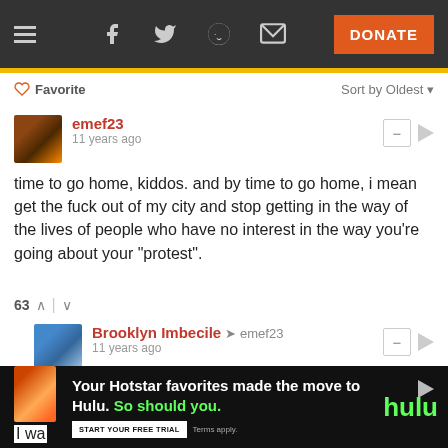Navigation bar with hamburger menu, social icons (Facebook, Twitter, Reddit, Mail), and DONATE button
♡ Favorite    Sort by Oldest ▾
emef23 · 11 years ago
time to go home, kiddos. and by time to go home, i mean get the fuck out of my city and stop getting in the way of the lives of people who have no interest in the way you're going about your "protest".
63 ∧ | ∨
Brooklyn Imbecile → emef23 · 11 years ago
ha
4 ∧ | ∨
[Figure (screenshot): Hulu advertisement banner: 'Your Hotstar favorites made the move to Hulu. So should you.' with START YOUR FREE TRIAL button and Terms apply text, hulu logo in green]